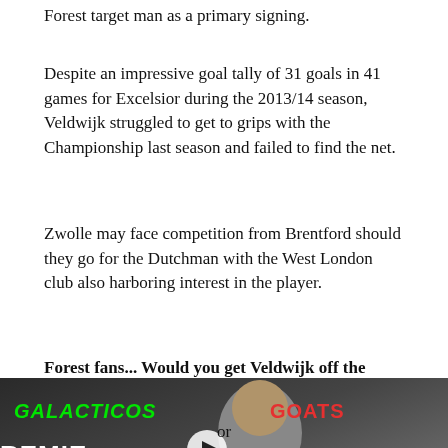Forest target man as a primary signing.
Despite an impressive goal tally of 31 goals in 41 games for Excelsior during the 2013/14 season, Veldwijk struggled to get to grips with the Championship last season and failed to find the net.
Zwolle may face competition from Brentford should they go for the Dutchman with the West London club also harboring interest in the player.
Forest fans... Would you get Veldwijk off the wage budget or is he one for the future? Let us know in the
[Figure (screenshot): Video thumbnail showing a man in a suit with GALACTICOS label in green and GOATS in red, with a play button, and REMIE SPORT text overlay. A dark bar reads 'this article'.]
or